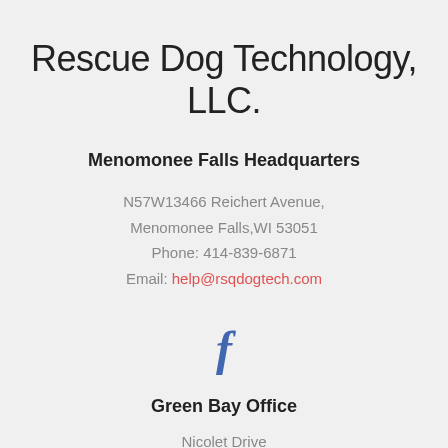Rescue Dog Technology, LLC.
Menomonee Falls Headquarters
N57W13466 Reichert Avenue,
Menomonee Falls,WI 53051
Phone: 414-839-6871
Email: help@rsqdogtech.com
[Figure (logo): Facebook logo icon - stylized letter f in blue]
Green Bay Office
Nicolet Drive
Green Bay,WI 54311